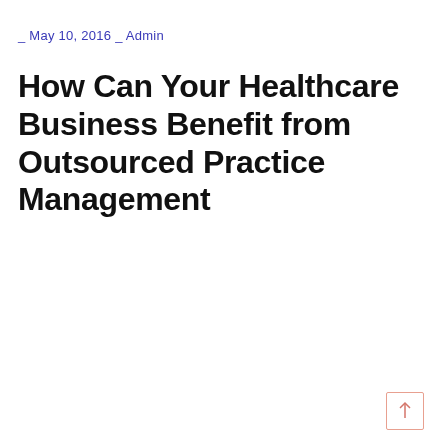_ May 10, 2016 _ Admin
How Can Your Healthcare Business Benefit from Outsourced Practice Management